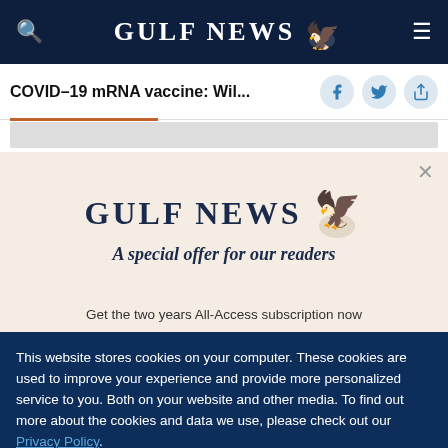GULF NEWS
COVID-19 mRNA vaccine: Wil...
[Figure (logo): Gulf News logo with eagle emblem and text 'A special offer for our readers']
A special offer for our readers
Get the two years All-Access subscription now
This website stores cookies on your computer. These cookies are used to improve your experience and provide more personalized service to you. Both on your website and other media. To find out more about the cookies and data we use, please check out our Privacy Policy.
OK